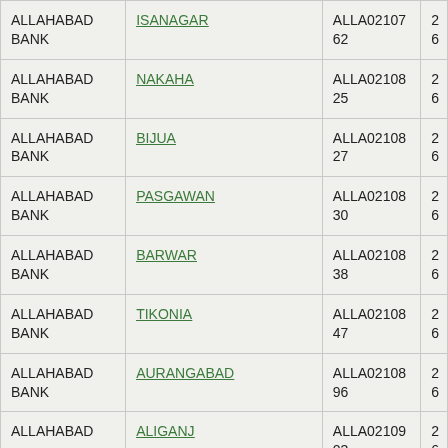| Bank | Branch | IFSC |  |
| --- | --- | --- | --- |
| ALLAHABAD BANK | ISANAGAR | ALLA0210762 | 26… |
| ALLAHABAD BANK | NAKAHA | ALLA0210825 | 26… |
| ALLAHABAD BANK | BIJUA | ALLA0210827 | 26… |
| ALLAHABAD BANK | PASGAWAN | ALLA0210830 | 26… |
| ALLAHABAD BANK | BARWAR | ALLA0210838 | 26… |
| ALLAHABAD BANK | TIKONIA | ALLA0210847 | 26… |
| ALLAHABAD BANK | AURANGABAD | ALLA0210896 | 26… |
| ALLAHABAD BANK | ALIGANJ | ALLA0210903 | 26… |